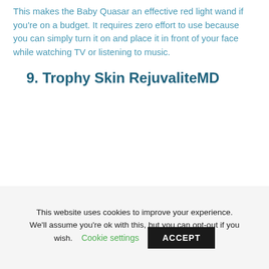This makes the Baby Quasar an effective red light wand if you're on a budget. It requires zero effort to use because you can simply turn it on and place it in front of your face while watching TV or listening to music.
9. Trophy Skin RejuvaliteMD
This website uses cookies to improve your experience. We'll assume you're ok with this, but you can opt-out if you wish.